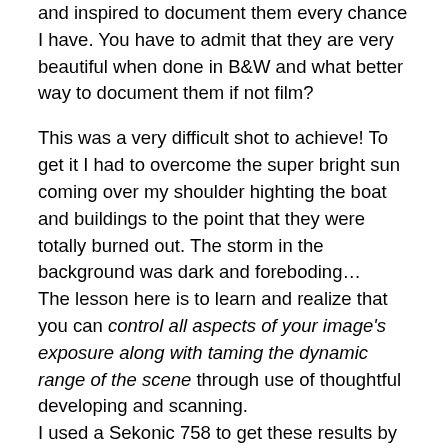and inspired to document them every chance I have. You have to admit that they are very beautiful when done in B&W and what better way to document them if not film?
This was a very difficult shot to achieve! To get it I had to overcome the super bright sun coming over my shoulder highting the boat and buildings to the point that they were totally burned out. The storm in the background was dark and foreboding…
The lesson here is to learn and realize that you can control all aspects of your image's exposure along with taming the dynamic range of the scene through use of thoughtful developing and scanning.
I used a Sekonic 758 to get these results by using  a combination of exposure averaging  with 6  one degree spot metered measurements, saving each reading in the meters memory then telling the meter to give me the zone